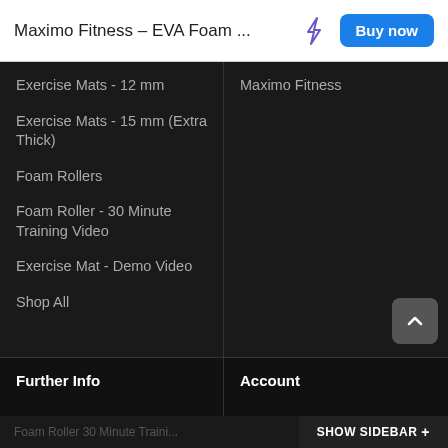Maximo Fitness – EVA Foam ...
Exercise Mats - 12 mm
Exercise Mats - 15 mm (Extra Thick)
Foam Rollers
Foam Roller - 30 Minute Training Video
Exercise Mat - Demo Video
Shop All
Maximo Fitness
Further Info
Account
Foam Roller 30 Minute Training Video
SHOW SIDEBAR +